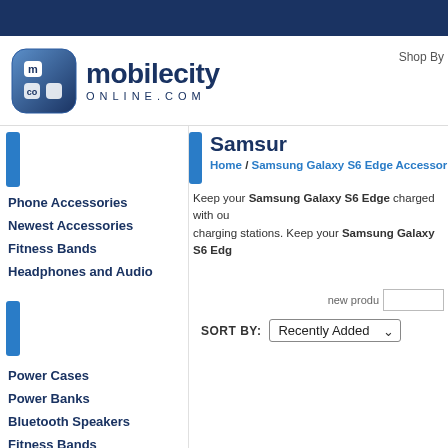[Figure (logo): mobilecityonline.com logo with stylized 'm' icon in blue square and text]
Shop By
Samsung
Home / Samsung Galaxy S6 Edge Accessories /
Keep your Samsung Galaxy S6 Edge charged with our charging stations. Keep your Samsung Galaxy S6 Edg
Phone Accessories
Newest Accessories
Fitness Bands
Headphones and Audio
new produ
SORT BY: Recently Added
Power Cases
Power Banks
Bluetooth Speakers
Fitness Bands
Bluetooth Headphones